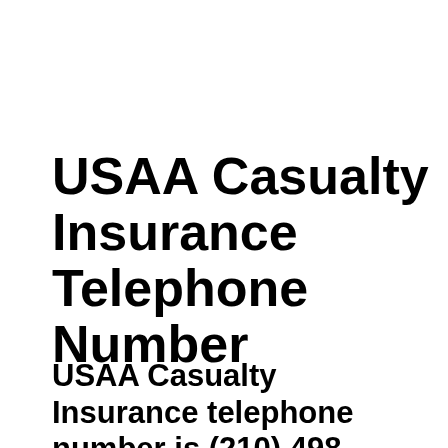USAA Casualty Insurance Telephone Number
USAA Casualty Insurance telephone number is (210) 498-